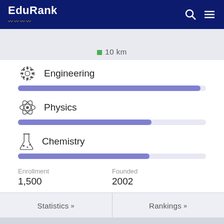EduRank
10 km
Engineering
Physics
Chemistry
Enrollment
1,500
Founded
2002
Statistics »
Rankings »
Hazara University